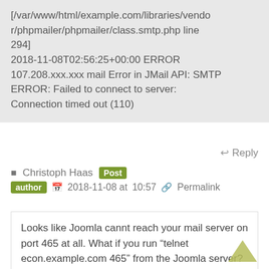[/var/www/html/example.com/libraries/vendor/phpmailer/phpmailer/class.smtp.php line 294]
2018-11-08T02:56:25+00:00 ERROR 107.208.xxx.xxx mail Error in JMail API: SMTP ERROR: Failed to connect to server: Connection timed out (110)
Reply
Christoph Haas  Post author  2018-11-08 at 10:57  Permalink
Looks like Joomla cannt reach your mail server on port 465 at all. What if you run “telnet econ.example.com 465” from the Joomla server? I would assume you do not get a connection.